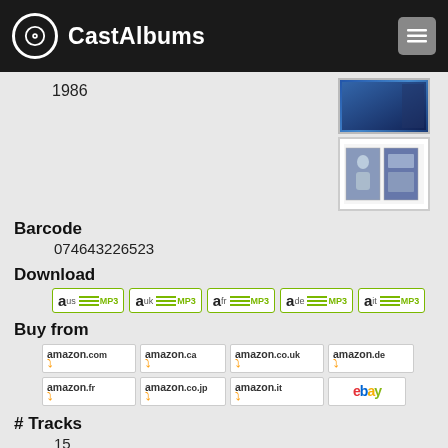CastAlbums
1986
Barcode
074643226523
Download
Amazon MP3: us, uk, fr, de, it
Buy from
amazon.com, amazon.ca, amazon.co.uk, amazon.de, amazon.fr, amazon.co.jp, amazon.it, ebay
# Tracks
15
Lists
72 collectors / 0 wish lists
Shortcode
[rl59]
1. Overture: Night Waltz
2. Now / Later / Soon